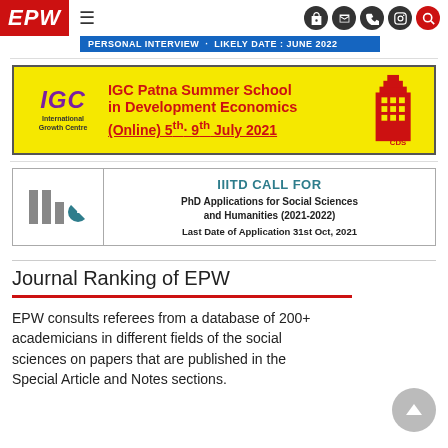EPW — Personal Interview · Likely Date: June 2022
[Figure (illustration): IGC Patna Summer School in Development Economics (Online) 5th - 9th July 2021 advertisement banner with yellow background, IGC purple logo, and CDS building graphic]
[Figure (illustration): IIITD Call for PhD Applications for Social Sciences and Humanities (2021-2022). Last Date of Application 31st Oct, 2021]
Journal Ranking of EPW
EPW consults referees from a database of 200+ academicians in different fields of the social sciences on papers that are published in the Special Article and Notes sections.